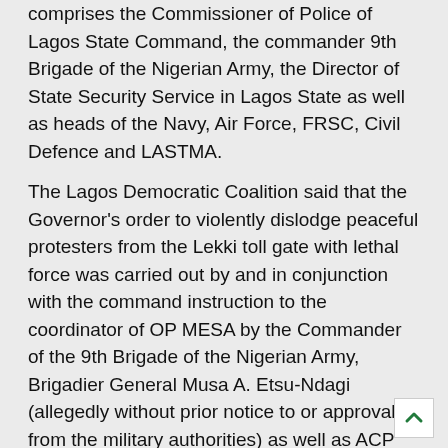comprises the Commissioner of Police of Lagos State Command, the commander 9th Brigade of the Nigerian Army, the Director of State Security Service in Lagos State as well as heads of the Navy, Air Force, FRSC, Civil Defence and LASTMA.
The Lagos Democratic Coalition said that the Governor's order to violently dislodge peaceful protesters from the Lekki toll gate with lethal force was carried out by and in conjunction with the command instruction to the coordinator of OP MESA by the Commander of the 9th Brigade of the Nigerian Army, Brigadier General Musa A. Etsu-Ndagi (allegedly without prior notice to or approval from the military authorities) as well as ACP Tunji Disu, the Commander of RRS.